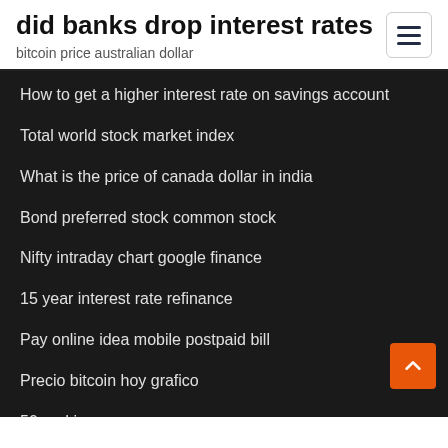did banks drop interest rates
bitcoin price australian dollar
How to get a higher interest rate on savings account
Total world stock market index
What is the price of canada dollar in india
Bond preferred stock common stock
Nifty intraday chart google finance
15 year interest rate refinance
Pay online idea mobile postpaid bill
Precio bitcoin hoy grafico
50 aud in myr
Impact of negative balance of trade